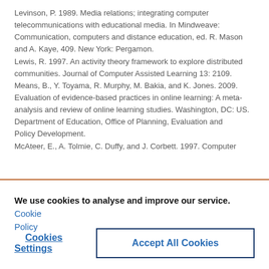Levinson, P. 1989. Media relations; integrating computer telecommunications with educational media. In Mindweave: Communication, computers and distance education, ed. R. Mason and A. Kaye, 409. New York: Pergamon. Lewis, R. 1997. An activity theory framework to explore distributed communities. Journal of Computer Assisted Learning 13: 2109. Means, B., Y. Toyama, R. Murphy, M. Bakia, and K. Jones. 2009. Evaluation of evidence-based practices in online learning: A meta-analysis and review of online learning studies. Washington, DC: US. Department of Education, Office of Planning, Evaluation and Policy Development. McAteer, E., A. Tolmie, C. Duffy, and J. Corbett. 1997. Computer
We use cookies to analyse and improve our service. Cookie Policy
Cookies Settings
Accept All Cookies